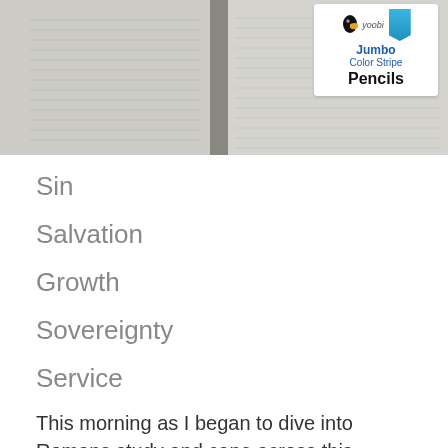[Figure (photo): Open Bible with yoobi Jumbo Color Stripe Pencils package visible on top right corner]
Sin
Salvation
Growth
Sovereignty
Service
This morning as I began to dive into Romans study and cane across this teaching in my bible HSBC life application study bible I wanted to share some meaning and importance of these words in a His